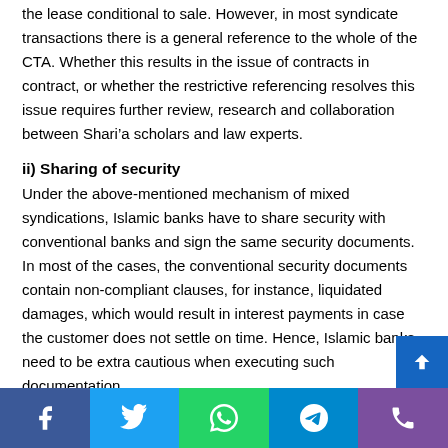the lease conditional to sale. However, in most syndicate transactions there is a general reference to the whole of the CTA. Whether this results in the issue of contracts in contract, or whether the restrictive referencing resolves this issue requires further review, research and collaboration between Shari'a scholars and law experts.
ii) Sharing of security
Under the above-mentioned mechanism of mixed syndications, Islamic banks have to share security with conventional banks and sign the same security documents. In most of the cases, the conventional security documents contain non-compliant clauses, for instance, liquidated damages, which would result in interest payments in case the customer does not settle on time. Hence, Islamic banks need to be extra cautious when executing such documentation.